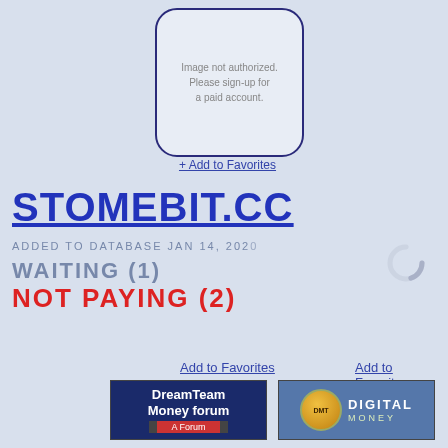[Figure (other): Image placeholder box with rounded corners and text: 'Image not authorized. Please sign-up for a paid account.']
+ Add to Favorites
STOMEBIT.CC
ADDED TO DATABASE JAN 14, 2020
WAITING (1)
NOT PAYING (2)
[Figure (other): Loading spinner / circular progress indicator]
Add to Favorites
Add to Favorites
[Figure (other): DreamTeam Money forum banner - dark blue background with white bold text 'DreamTeam Money forum' and red bar 'A Forum']
[Figure (other): Digital Money (DMT) banner - blue-gray background with gold circular DMT logo and white DIGITAL MONEY text]